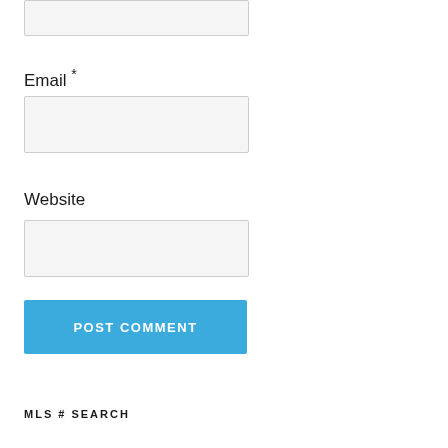[Figure (screenshot): Partially visible form input box at top of page]
Email *
[Figure (screenshot): Email input field (empty, light gray background)]
Website
[Figure (screenshot): Website input field (empty, light gray background)]
[Figure (screenshot): POST COMMENT button (blue)]
MLS # SEARCH